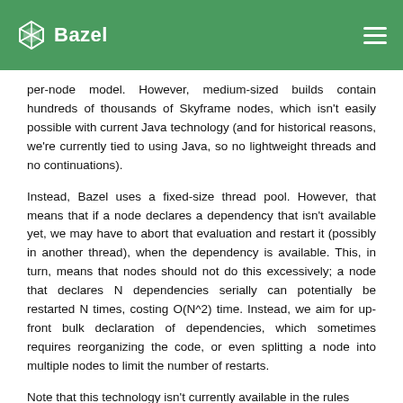Bazel
per-node model. However, medium-sized builds contain hundreds of thousands of Skyframe nodes, which isn't easily possible with current Java technology (and for historical reasons, we're currently tied to using Java, so no lightweight threads and no continuations).
Instead, Bazel uses a fixed-size thread pool. However, that means that if a node declares a dependency that isn't available yet, we may have to abort that evaluation and restart it (possibly in another thread), when the dependency is available. This, in turn, means that nodes should not do this excessively; a node that declares N dependencies serially can potentially be restarted N times, costing O(N^2) time. Instead, we aim for up-front bulk declaration of dependencies, which sometimes requires reorganizing the code, or even splitting a node into multiple nodes to limit the number of restarts.
Note that this technology isn't currently available in the rules